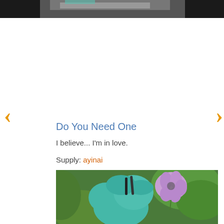[Figure (photo): Partial top photo showing dark blurred image at top of page]
Do You Need One
I believe... I'm in love.
Supply: ayinai
[Figure (photo): Photo of a teal/turquoise anime figure (Hatsune Miku nendoroid) near a purple/lavender flower with green foliage in background]